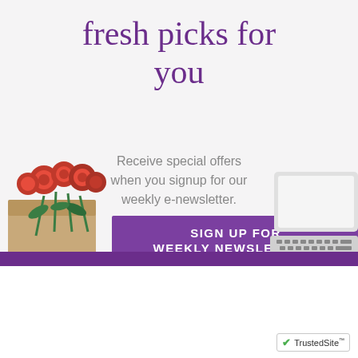fresh picks for you
Receive special offers when you signup for our weekly e-newsletter.
SIGN UP FOR WEEKLY NEWSLETTERS
[Figure (photo): Bouquet of red roses in a kraft paper envelope on the left side]
[Figure (photo): Laptop keyboard partially visible on the right side]
[Figure (logo): Fox Run Florist logo: black square with white line drawing of a fox]
Fox Run Florist
[Figure (logo): TrustedSite badge with green checkmark]